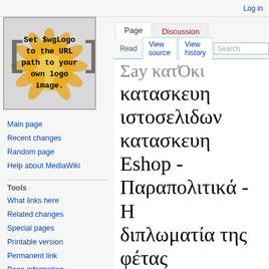Log in
[Figure (illustration): MediaWiki logo placeholder with text: Set $wgLogo to the URL path to your own logo image, with a sunflower graphic behind brackets]
Main page
Recent changes
Random page
Help about MediaWiki
Tools
What links here
Related changes
Special pages
Printable version
Permanent link
Page information
Cite this page
Σay κατΌκι κατασκευη ιστοσελιδων κατασκευη Eshop - Παραπολιτικά - Η διπλωματία της φέτας
σχεδιασμός ιστοσελίδασ, https://xenofon.gr/. κατασκευη ιστοσελιδων κατασκευη eshop κοστοσ κατασκευη eshop Ειδήσεις από την Ελλάδα και τον Κόσμο, σχεδιασμός